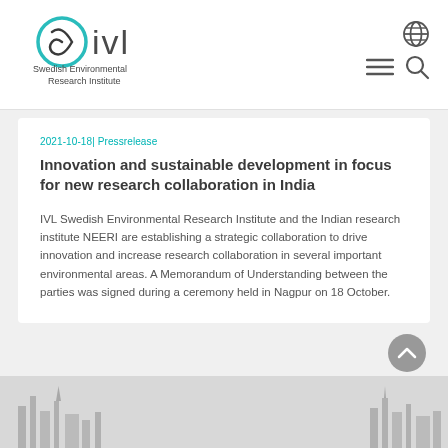IVL Swedish Environmental Research Institute — navigation header with logo, globe icon, menu icon, search icon
2021-10-18| Pressrelease
Innovation and sustainable development in focus for new research collaboration in India
IVL Swedish Environmental Research Institute and the Indian research institute NEERI are establishing a strategic collaboration to drive innovation and increase research collaboration in several important environmental areas. A Memorandum of Understanding between the parties was signed during a ceremony held in Nagpur on 18 October.
[Figure (photo): Cityscape / skyline silhouette photograph at the bottom of the page]